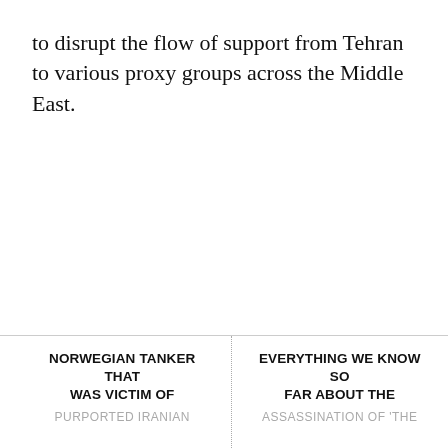to disrupt the flow of support from Tehran to various proxy groups across the Middle East.
NORWEGIAN TANKER THAT WAS VICTIM OF
EVERYTHING WE KNOW SO FAR ABOUT THE
PURPORTED IRANIAN
ASSASSINATION OF 'THE